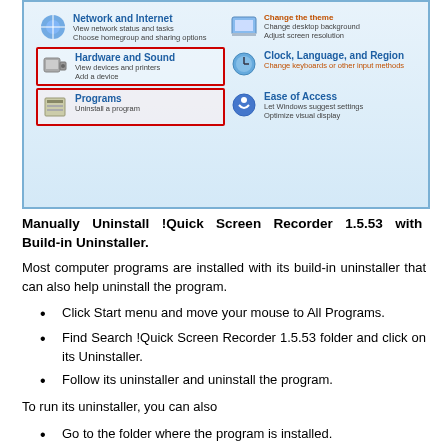[Figure (screenshot): Windows Control Panel screenshot showing Hardware and Sound, Programs (highlighted with red border), Clock Language and Region, and Ease of Access categories]
Manually Uninstall !Quick Screen Recorder 1.5.53 with Build-in Uninstaller.
Most computer programs are installed with its build-in uninstaller that can also help uninstall the program.
Click Start menu and move your mouse to All Programs.
Find Search !Quick Screen Recorder 1.5.53 folder and click on its Uninstaller.
Follow its uninstaller and uninstall the program.
To run its uninstaller, you can also
Go to the folder where the program is installed.
Locate its uninstaller usually named as unins000.exe or uninstall.exe
Double click on its uninstaller and follow it to uninstall the program.
Please know that Windows "Add/Remove Programs" and its build-in uninstaller...